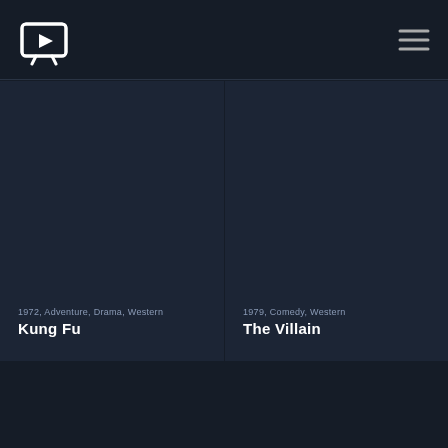TV streaming app header with logo and menu
[Figure (screenshot): Dark card for movie/show Kung Fu with a dark background image area]
1972, Adventure, Drama, Western
Kung Fu
[Figure (screenshot): Dark card for movie/show The Villain with a dark background image area]
1979, Comedy, Western
The Villain